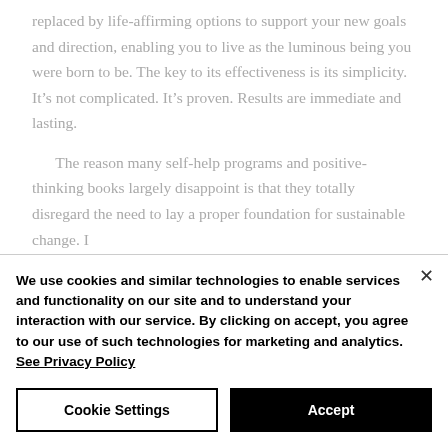replaced by life-affirming options to support your new goals and direction, enabling you to live as the luminous being you were born to be. The key to its effectiveness is its simplicity. It's not complicated. It's proven. Results are immediate and lasting.
The reason many self-help programs and positive-thinking books largely disappoint is that they totally disregard the need to lay a proper foundation for sustainable change. I
We use cookies and similar technologies to enable services and functionality on our site and to understand your interaction with our service. By clicking on accept, you agree to our use of such technologies for marketing and analytics. See Privacy Policy
Cookie Settings
Accept